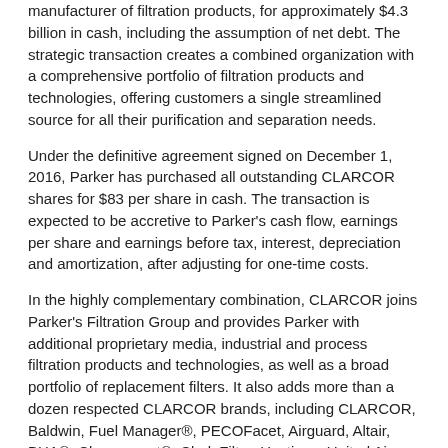manufacturer of filtration products, for approximately $4.3 billion in cash, including the assumption of net debt. The strategic transaction creates a combined organization with a comprehensive portfolio of filtration products and technologies, offering customers a single streamlined source for all their purification and separation needs.
Under the definitive agreement signed on December 1, 2016, Parker has purchased all outstanding CLARCOR shares for $83 per share in cash. The transaction is expected to be accretive to Parker's cash flow, earnings per share and earnings before tax, interest, depreciation and amortization, after adjusting for one-time costs.
In the highly complementary combination, CLARCOR joins Parker's Filtration Group and provides Parker with additional proprietary media, industrial and process filtration products and technologies, as well as a broad portfolio of replacement filters. It also adds more than a dozen respected CLARCOR brands, including CLARCOR, Baldwin, Fuel Manager®, PECOFacet, Airguard, Altair, BHA®, Clearcurrent®, Clark Filter, Hastings, United Air Specialists, Keddeg and Purolator. In addition, Parker possesses strong relationships with original equipment manufacturers and customers in international markets while CLARCOR contributes a solid U.S. presence, especially for recurring sales in the aftermarket.
“This is an exciting new journey as we work together to build the